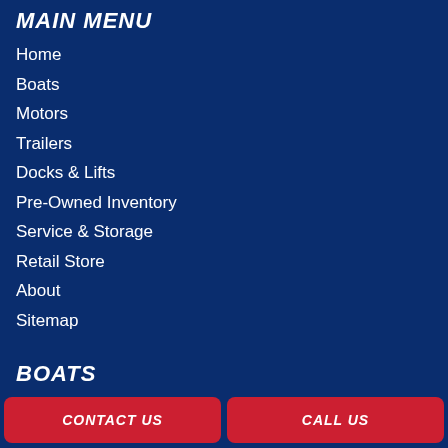MAIN MENU
Home
Boats
Motors
Trailers
Docks & Lifts
Pre-Owned Inventory
Service & Storage
Retail Store
About
Sitemap
BOATS
Manitou
MOTORS
CONTACT US   CALL US